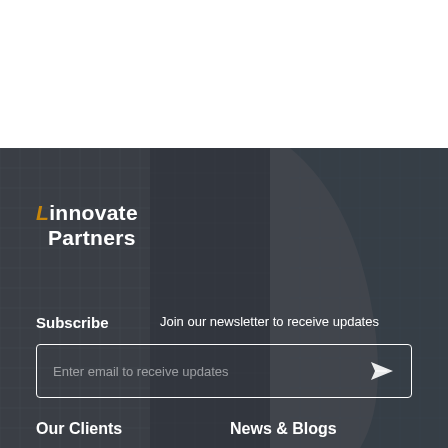[Figure (photo): Dark background photo of tall glass skyscrapers viewed from below against a grey sky, used as a footer/newsletter section background]
Linnovate Partners
Subscribe
Join our newsletter to receive updates
Enter email to receive updates
Our Clients
News & Blogs